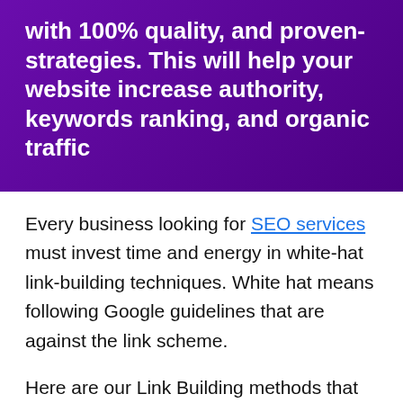with 100% quality, and proven-strategies. This will help your website increase authority, keywords ranking, and organic traffic
Every business looking for SEO services must invest time and energy in white-hat link-building techniques. White hat means following Google guidelines that are against the link scheme.
Here are our Link Building methods that are white hat.
Guest Post